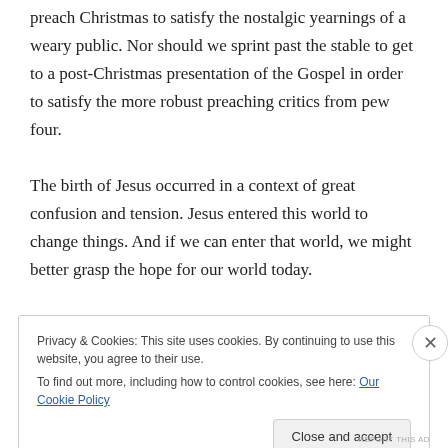preach Christmas to satisfy the nostalgic yearnings of a weary public. Nor should we sprint past the stable to get to a post-Christmas presentation of the Gospel in order to satisfy the more robust preaching critics from pew four.
The birth of Jesus occurred in a context of great confusion and tension. Jesus entered this world to change things. And if we can enter that world, we might better grasp the hope for our world today.
Privacy & Cookies: This site uses cookies. By continuing to use this website, you agree to their use. To find out more, including how to control cookies, see here: Our Cookie Policy
Close and accept
REPORT THIS AD